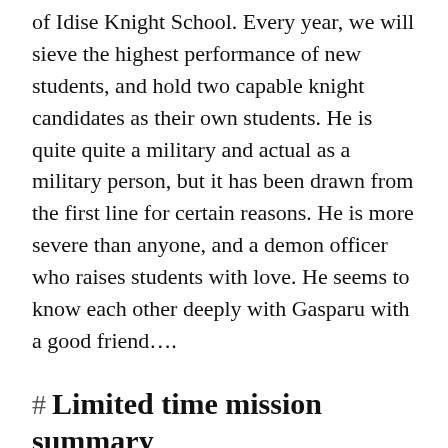of Idise Knight School. Every year, we will sieve the highest performance of new students, and hold two capable knight candidates as their own students. He is quite quite a military and actual as a military person, but it has been drawn from the first line for certain reasons. He is more severe than anyone, and a demon officer who raises students with love. He seems to know each other deeply with Gasparu with a good friend….
# Limited time mission summary
By newly clearing the episode, you will receive a "★ 5 costume exchange ticket". You can get up to 3 tickets up to 3 tickets. Please choose from "Shop" ★ ★ 5 costumes